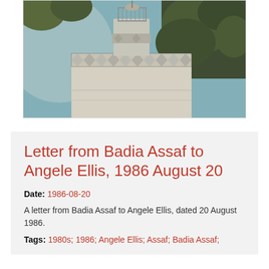[Figure (photo): Historical photograph showing the top portion of a white decorated minaret or tower structure with geometric patterns, partially obscured by tree branches. The image appears to be a vintage colorized photograph with teal/blue sky background.]
Letter from Badia Assaf to Angele Ellis, 1986 August 20
Date: 1986-08-20
A letter from Badia Assaf to Angele Ellis, dated 20 August 1986.
Tags: 1980s; 1986; Angele Ellis; Assaf; Badia Assaf;